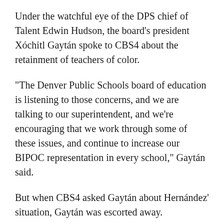Under the watchful eye of the DPS chief of Talent Edwin Hudson, the board's president Xóchitl Gaytán spoke to CBS4 about the retainment of teachers of color.
"The Denver Public Schools board of education is listening to those concerns, and we are talking to our superintendent, and we're encouraging that we work through some of these issues, and continue to increase our BIPOC representation in every school," Gaytán said.
But when CBS4 asked Gaytán about Hernández' situation, Gaytán was escorted away.
"We have no comment on that, we'll release a statement," Hudson said.